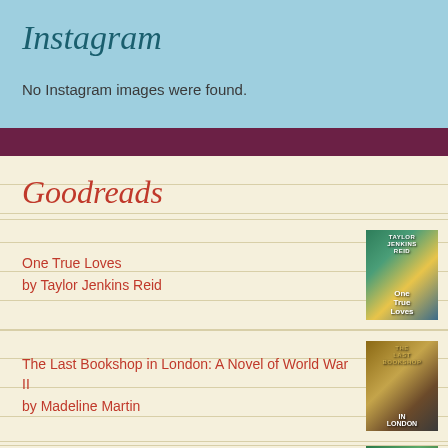Instagram
No Instagram images were found.
Goodreads
One True Loves
by Taylor Jenkins Reid
The Last Bookshop in London: A Novel of World War II
by Madeline Martin